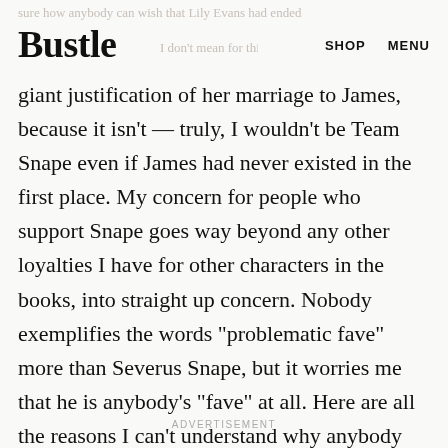Bustle  SHOP  MENU
giant justification of her marriage to James, because it isn't — truly, I wouldn't be Team Snape even if James had never existed in the first place. My concern for people who support Snape goes way beyond any other loyalties I have for other characters in the books, into straight up concern. Nobody exemplifies the words "problematic fave" more than Severus Snape, but it worries me that he is anybody's "fave" at all. Here are all the reasons I can't understand why anybody would be Team Snape:
ADVERTISEMENT